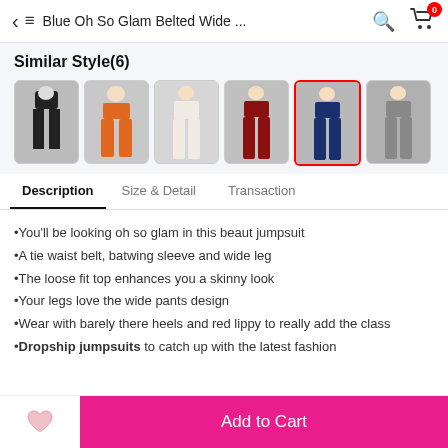Blue Oh So Glam Belted Wide ...
Similar Style(6)
[Figure (photo): Six thumbnail images of jumpsuits in various colors: black, orange, white, red/burgundy, navy blue (selected/highlighted), and grey]
Description | Size & Detail | Transaction (tab navigation)
You'll be looking oh so glam in this beaut jumpsuit
A tie waist belt, batwing sleeve and wide leg
The loose fit top enhances you a skinny look
Your legs love the wide pants design
Wear with barely there heels and red lippy to really add the class
Dropship jumpsuits to catch up with the latest fashion
Add to Cart